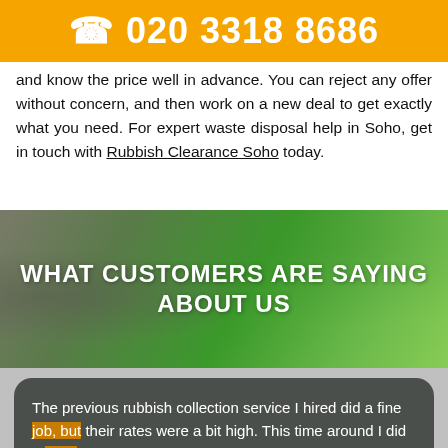☎ 020 3318 8686
and know the price well in advance. You can reject any offer without concern, and then work on a new deal to get exactly what you need. For expert waste disposal help in Soho, get in touch with Rubbish Clearance Soho today.
WHAT CUSTOMERS ARE SAYING ABOUT US
The previous rubbish collection service I hired did a fine job, but their rates were a bit high. This time around I did my research and found the lovely blokes at RubbishClearanceSoho. They had reasonable rates, and they have done a great job so far.